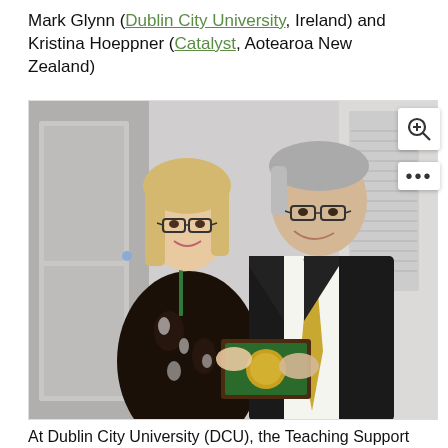Mark Glynn (Dublin City University, Ireland) and Kristina Hoeppner (Catalyst, Aotearoa New Zealand)
[Figure (photo): Two people standing together, a woman with blonde hair wearing glasses and a dark floral dress with a green lanyard, and a man with grey hair wearing glasses, a dark suit and gold tie. They are both holding a small box with a green interior, appearing to present or receive an award.]
At Dublin City University (DCU), the Teaching Support